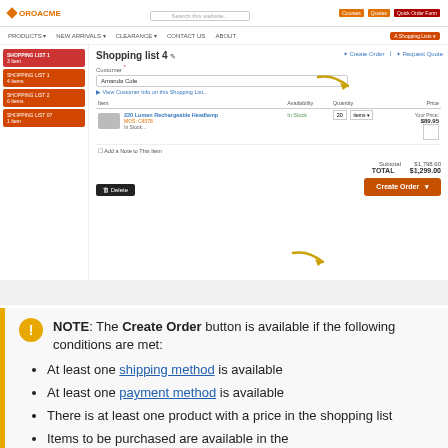[Figure (screenshot): Screenshot of OroACME e-commerce platform showing Shopping list 4 with a 220 Lumen Rechargeable Headlamp product item, customer selector, quantity field, price ($89.95), subtotal ($1,798.60) and total ($1,299.00), with a Create Order button and two arrow annotations pointing to the Create Order/Request Quote links and the Create Order button.]
NOTE: The Create Order button is available if the following conditions are met:
At least one shipping method is available
At least one payment method is available
There is at least one product with a price in the shopping list
Items to be purchased are available in the